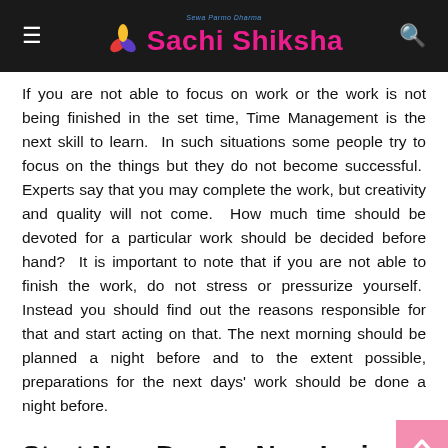Sachi Shiksha
If you are not able to focus on work or the work is not being finished in the set time, Time Management is the next skill to learn. In such situations some people try to focus on the things but they do not become successful. Experts say that you may complete the work, but creativity and quality will not come. How much time should be devoted for a particular work should be decided before hand? It is important to note that if you are not able to finish the work, do not stress or pressurize yourself. Instead you should find out the reasons responsible for that and start acting on that. The next morning should be planned a night before and to the extent possible, preparations for the next days' work should be done a night before.
Start New Day As New Inning: